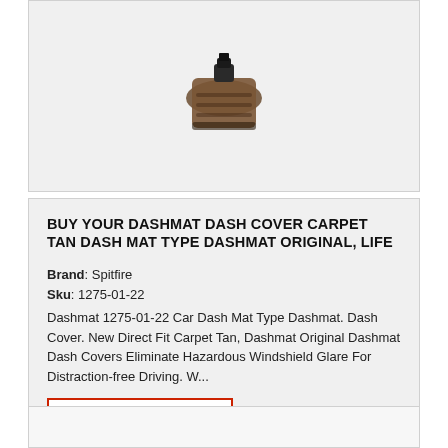[Figure (photo): Product image of a Dashmat Dash Cover Carpet Tan, partially visible at the top of the page]
BUY YOUR DASHMAT DASH COVER CARPET TAN DASH MAT TYPE DASHMAT ORIGINAL, LIFE
Brand: Spitfire
Sku: 1275-01-22
Dashmat 1275-01-22 Car Dash Mat Type Dashmat. Dash Cover. New Direct Fit Carpet Tan, Dashmat Original Dashmat Dash Covers Eliminate Hazardous Windshield Glare For Distraction-free Driving. W...
PRICING & INFO
$30.56